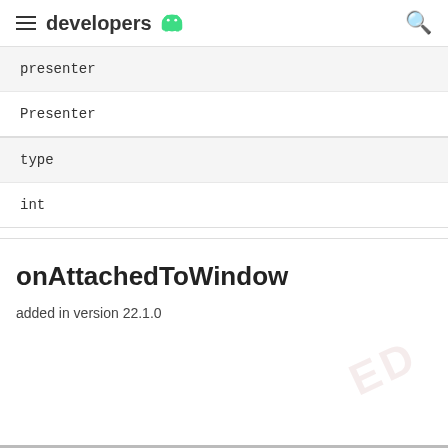developers
| presenter |
| --- |
| Presenter |
| type |
| --- |
| int |
onAttachedToWindow
added in version 22.1.0